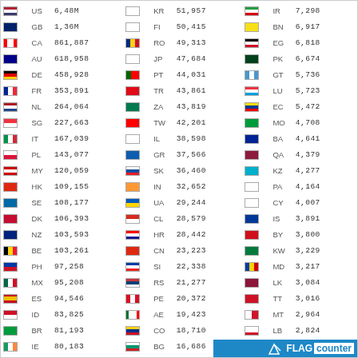| Flag | CC | Count | Flag | CC | Count | Flag | CC | Count |
| --- | --- | --- | --- | --- | --- | --- | --- | --- |
| [US] | US | 6,48M | [KR] | KR | 51,957 | [IR] | IR | 7,298 |
| [GB] | GB | 1,36M | [FI] | FI | 50,415 | [BN] | BN | 6,917 |
| [CA] | CA | 861,887 | [RO] | RO | 49,313 | [EG] | EG | 6,818 |
| [AU] | AU | 618,958 | [JP] | JP | 47,684 | [PK] | PK | 6,674 |
| [DE] | DE | 458,928 | [PT] | PT | 44,031 | [GT] | GT | 5,736 |
| [FR] | FR | 353,891 | [TR] | TR | 43,861 | [LU] | LU | 5,723 |
| [NL] | NL | 264,064 | [ZA] | ZA | 43,819 | [EC] | EC | 5,472 |
| [SG] | SG | 227,663 | [TW] | TW | 42,201 | [MO] | MO | 4,708 |
| [IT] | IT | 167,039 | [IL] | IL | 38,598 | [BA] | BA | 4,641 |
| [PL] | PL | 143,077 | [GR] | GR | 37,566 | [QA] | QA | 4,379 |
| [MY] | MY | 120,059 | [SK] | SK | 36,460 | [KZ] | KZ | 4,277 |
| [HK] | HK | 109,155 | [IN] | IN | 32,652 | [PA] | PA | 4,164 |
| [SE] | SE | 108,177 | [UA] | UA | 29,244 | [CY] | CY | 4,007 |
| [DK] | DK | 106,393 | [CL] | CL | 28,579 | [IS] | IS | 3,891 |
| [NZ] | NZ | 103,593 | [HR] | HR | 28,442 | [BY] | BY | 3,800 |
| [BE] | BE | 103,261 | [CN] | CN | 23,223 | [KW] | KW | 3,229 |
| [PH] | PH | 97,258 | [SI] | SI | 22,338 | [MD] | MD | 3,217 |
| [MX] | MX | 95,208 | [RS] | RS | 21,277 | [LK] | LK | 3,084 |
| [ES] | ES | 94,546 | [PE] | PE | 20,372 | [TT] | TT | 3,016 |
| [ID] | ID | 83,825 | [AE] | AE | 19,423 | [MT] | MT | 2,964 |
| [BR] | BR | 81,193 | [CO] | CO | 18,710 | [LB] | LB | 2,824 |
| [IE] | IE | 80,183 | [BG] | BG | 16,686 | [BO] | BO | 2,395 |
| [CH] | CH | 71,325 | [AR] | AR | 15,642 | [JO] | JO | 2,380 |
| [RU] | RU | 71,032 | [PR] | PR | 14,848 | [GG] | GG | 2,346 |
| [HU] | HU | 65,750 | [LT] | LT | 14,068 | [SV] | SV | 2,289 |
| [VN] | VN | 65,111 | [VE] | VE | 10,653 | [NG] | NG | 2,287 |
| [CZ] | CZ | 61,595 | [CR] | CR | 9,926 | [MA] | MA | 2,248 |
| [NO] | NO | 61,357 | [EE] | EE | 9,872 | [DZ] | DZ | 2,241 |
| [AT] | AT | 56,571 | [LV] | LV | 9,766 | [DO] | DO | 2,030 |
| [TH] | TH | 56,373 | [SA] | SA | 8,153 | [IM] | IM | 1,912 |
[Figure (logo): FLAG counter logo at bottom right]